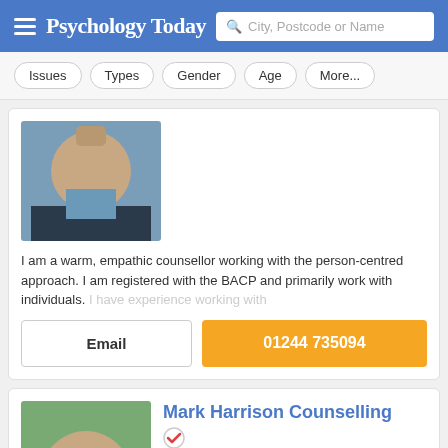Psychology Today — City, Postcode or Name search
Issues
Types
Gender
Age
More...
[Figure (photo): Partial photo of a male counsellor, cropped at shoulders, wearing dark sweater and light blue shirt]
I am a warm, empathic counsellor working with the person-centred approach. I am registered with the BACP and primarily work with individuals. I have experience working with
Email
01244 735094
Mark Harrison Counselling
Counsellor, MA, MNCS Accred
Chester CH4
Offers online therapy
[Figure (photo): Photo of Mark Harrison, a bald middle-aged man with a gentle expression, wearing a striped henley shirt, outdoors with green foliage background]